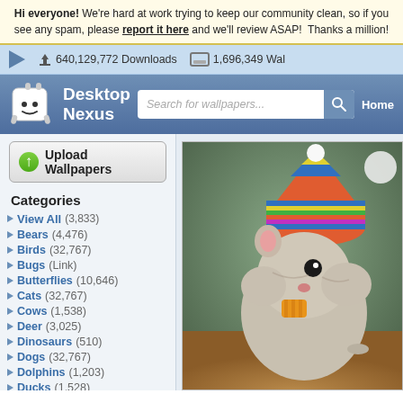Hi everyone! We're hard at work trying to keep our community clean, so if you see any spam, please report it here and we'll review ASAP! Thanks a million!
640,129,772 Downloads   1,696,349 Wal...
[Figure (screenshot): Desktop Nexus website header with logo, search bar, and Home navigation button]
Upload Wallpapers
Categories
View All (3,833)
Bears (4,476)
Birds (32,767)
Bugs (Link)
Butterflies (10,646)
Cats (32,767)
Cows (1,538)
Deer (3,025)
Dinosaurs (510)
Dogs (32,767)
Dolphins (1,203)
Ducks (1,528)
Elephants (1,302)
Fish (3,164)
Frogs (5,712)
[Figure (photo): A cute hamster wearing a colorful striped knitted hat and eating a piece of cheese/carrot, photographed on a wooden surface with blurred background]